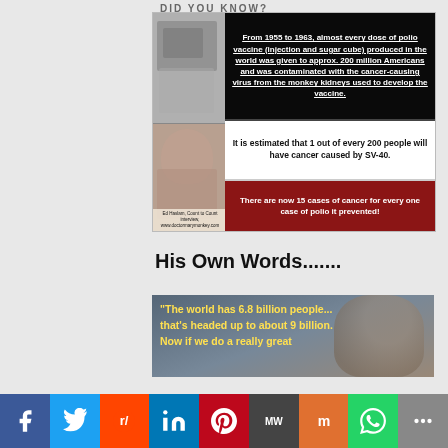DID YOU KNOW?
[Figure (infographic): Infographic about polio vaccine contamination with SV-40 virus. Contains three panels: (1) black background with white underlined text: 'From 1955 to 1963, almost every dose of polio vaccine (injection and sugar cube) produced in the world was given to approx. 200 million Americans and was contaminated with the cancer-causing virus from the monkey kidneys used to develop the vaccine.' (2) white background: 'It is estimated that 1 out of every 200 people will have cancer caused by SV-40.' (3) dark red background: 'There are now 15 cases of cancer for every one case of polio it prevented!' Left side shows vintage black-and-white photos with caption 'Ed Haslam, Count to Count interview, www.doctormarymonkey.com']
His Own Words.......
[Figure (photo): Bottom portion of a face (man) with yellow text overlay: '"The world has 6.8 billion people... that's headed up to about 9 billion. Now if we do a really great']
Social share bar: Facebook, Twitter, Reddit, LinkedIn, Pinterest, MeWe, Mix, WhatsApp, More